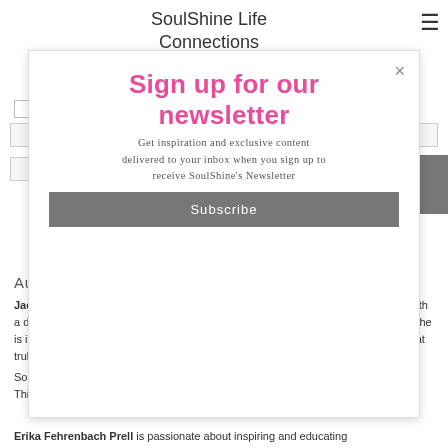SoulShine Life Connections
Sign up for our newsletter
Get inspiration and exclusive content delivered to your inbox when you sign up to receive SoulShine's Newsletter
Notify me of new comments to this post by email
SUBMIT
Authors
Jackie White has been writing about life and its ups and downs for many years. With a degree in Industrial Psychology and a life-long student of personal development she is intrigued by how each individual chooses to live their life. Jackie feels strongly that truly living your best life is imperative to attaining peace and fulfillment.
SoulShine was borne of her desire to inspire and teach others to live their best life. This is her mission and her dream.
Subscribe
Erika Fehrenbach Prell is passionate about inspiring and educating